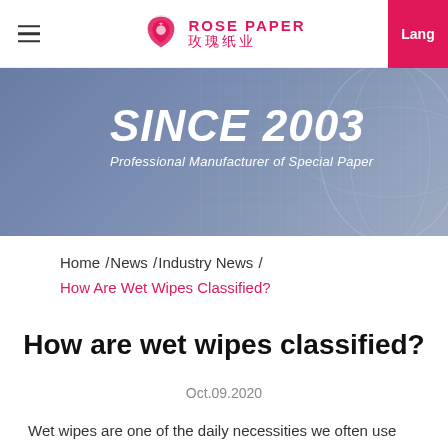Rose Paper 玫瑰纸业 | Lang
[Figure (photo): Blue-toned banner with financial/data grid background image, text: SINCE 2003, Professional Manufacturer of Special Paper]
Home /News /Industry News /
How Are Wet Wipes Classified?
How are wet wipes classified?
Oct.09.2020
Wet wipes are one of the daily necessities we often use